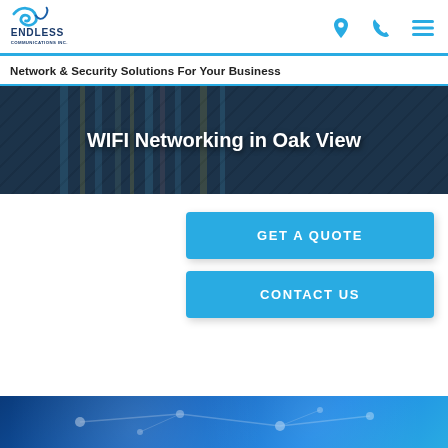[Figure (logo): Endless Communications Inc. logo with swirl graphic and company name]
Network & Security Solutions For Your Business
WIFI Networking in Oak View
GET A QUOTE
CONTACT US
[Figure (photo): Blue network connectivity image with glowing dots and lines representing wireless networking]